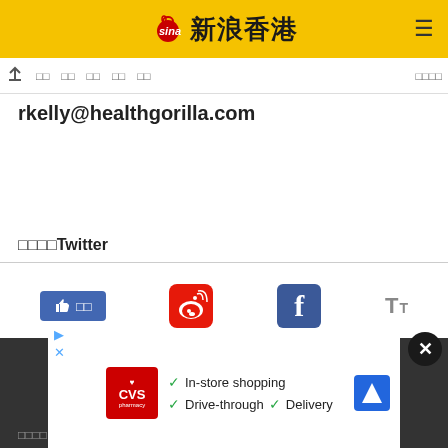Sina 新浪香港
↑ □□ □□ □□ □□ □□ □□□□
rkelly@healthgorilla.com
□□□□Twitter
[Figure (screenshot): Social sharing buttons: Facebook Like, Weibo, Facebook, Text size icons]
□□□□
[Figure (screenshot): Advertisement: CVS Pharmacy - In-store shopping, Drive-through, Delivery]